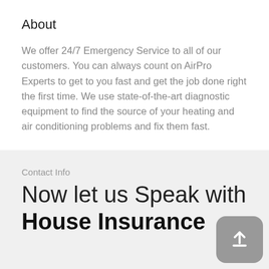About
We offer 24/7 Emergency Service to all of our customers. You can always count on AirPro Experts to get to you fast and get the job done right the first time. We use state-of-the-art diagnostic equipment to find the source of your heating and air conditioning problems and fix them fast.
Contact Info
Now let us Speak with House Insurance